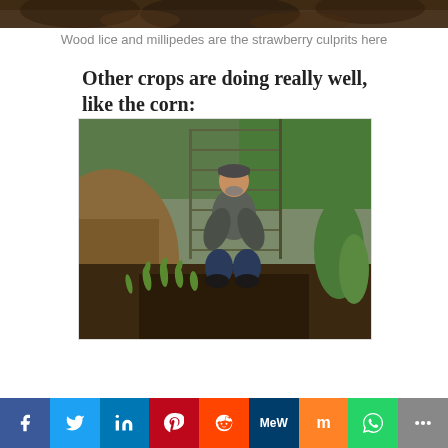[Figure (photo): Top portion of a photo showing natural/animal subject with dark brown tones, partially cropped]
Wood lice and millipedes are the strawberry culprits here
Other crops are doing really well, like the corn:
[Figure (photo): A man wearing a cap and grey sweater crouching in a garden next to small corn seedlings growing in dark mulched soil, with a wire fence gate in the background and green plants on the right]
Social share bar: Facebook, Twitter, LinkedIn, Pinterest, Reddit, MeWe, Mix, WhatsApp, More